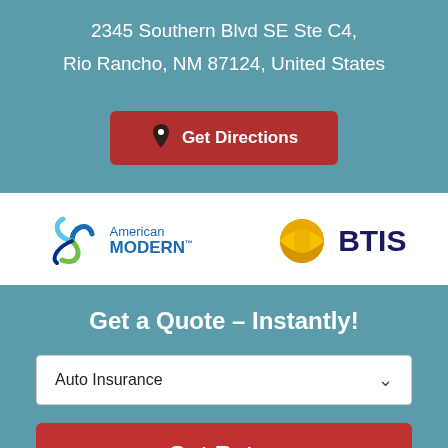2345 Southern Blvd SE Ste C4, Rio Rancho, NM 87124, United States
[Figure (other): Red button with location pin icon and text 'Get Directions']
[Figure (logo): American Modern insurance logo with circular swirl graphic]
[Figure (logo): BTIS logo with yellow/gold globe graphic and dark blue BTIS text]
Get a Quote – Instantly!
Auto Insurance
[Figure (other): Get Rates button (partially visible at bottom)]